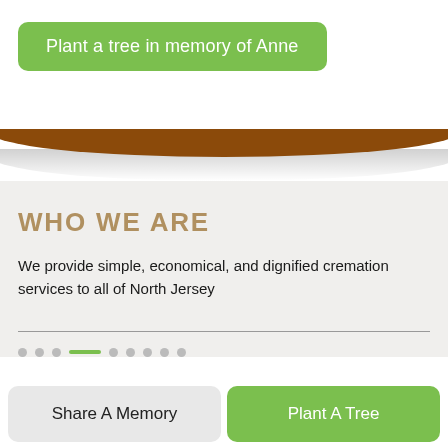Plant a tree in memory of Anne
WHO WE ARE
We provide simple, economical, and dignified cremation services to all of North Jersey
Share A Memory
Plant A Tree